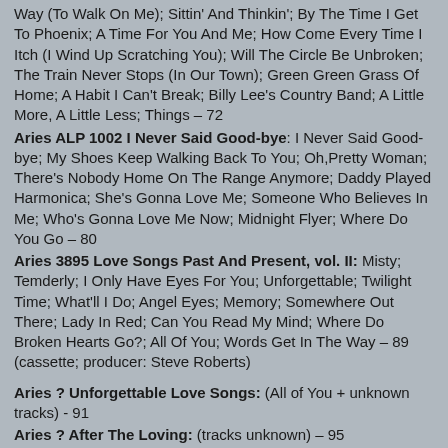Way (To Walk On Me); Sittin' And Thinkin'; By The Time I Get To Phoenix; A Time For You And Me; How Come Every Time I Itch (I Wind Up Scratching You); Will The Circle Be Unbroken; The Train Never Stops (In Our Town); Green Green Grass Of Home; A Habit I Can't Break; Billy Lee's Country Band; A Little More, A Little Less; Things – 72
Aries ALP 1002 I Never Said Good-bye: I Never Said Good-bye; My Shoes Keep Walking Back To You; Oh,Pretty Woman; There's Nobody Home On The Range Anymore; Daddy Played Harmonica; She's Gonna Love Me; Someone Who Believes In Me; Who's Gonna Love Me Now; Midnight Flyer; Where Do You Go – 80
Aries 3895 Love Songs Past And Present, vol. II: Misty; Temderly; I Only Have Eyes For You; Unforgettable; Twilight Time; What'll I Do; Angel Eyes; Memory; Somewhere Out There; Lady In Red; Can You Read My Mind; Where Do Broken Hearts Go?; All Of You; Words Get In The Way – 89 (cassette; producer: Steve Roberts)
Aries ? Unforgettable Love Songs: (All of You + unknown tracks) - 91
Aries ? After The Loving: (tracks unknown) – 95
Aries ? Country Classics: If You've Got The M...